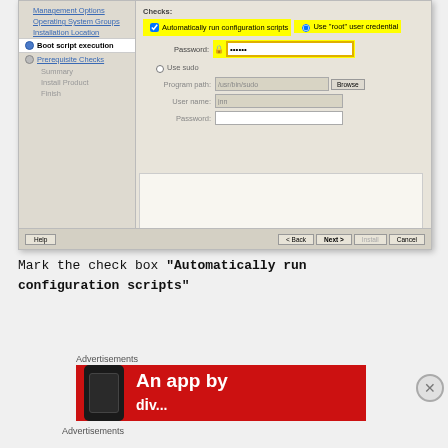[Figure (screenshot): Software installer screenshot showing 'Boot script execution' configuration panel with 'Automatically run configuration scripts' checkbox highlighted in yellow, and a 'Use root user credential' option with a password field highlighted in yellow]
Mark the check box “Automatically run configuration scripts”
Advertisements
[Figure (photo): Red advertisement banner showing 'An app by' text with a phone image on the left]
Advertisements